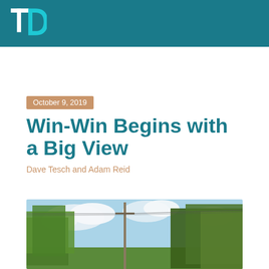TD
October 9, 2019
Win-Win Begins with a Big View
Dave Tesch and Adam Reid
[Figure (photo): Outdoor photo showing trees, a utility pole, and a partly cloudy sky]